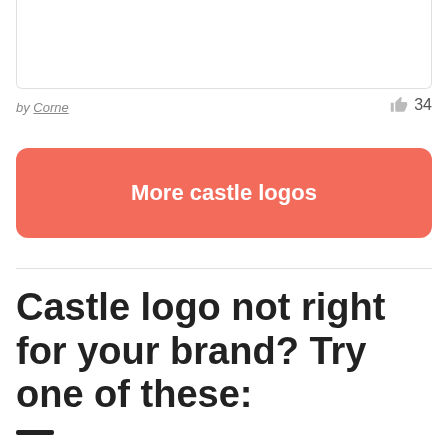[Figure (other): Top portion of a card or logo image, showing only the white upper area with light border]
by Corne
34
More castle logos
Castle logo not right for your brand? Try one of these: